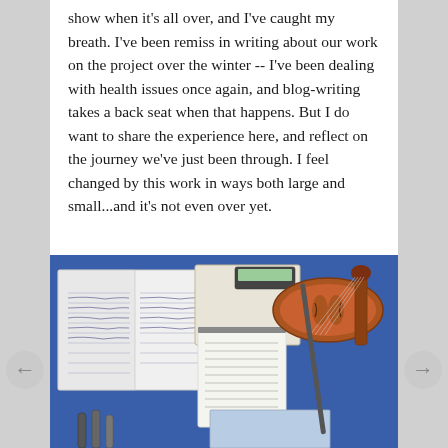show when it's all over, and I've caught my breath. I've been remiss in writing about our work on the project over the winter -- I've been dealing with health issues once again, and blog-writing takes a back seat when that happens. But I do want to share the experience here, and reflect on the journey we've just been through. I feel changed by this work in ways both large and small...and it's not even over yet.
[Figure (photo): A photograph on a blue tablecloth showing open notebooks with handwritten notes, a small spiral notebook, loose papers, pens, and a violin in the upper right corner.]